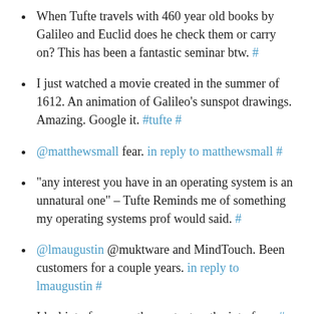When Tufte travels with 460 year old books by Galileo and Euclid does he check them or carry on? This has been a fantastic seminar btw. #
I just watched a movie created in the summer of 1612. An animation of Galileo's sunspot drawings. Amazing. Google it. #tufte #
@matthewsmall fear. in reply to matthewsmall #
"any interest you have in an operating system is an unnatural one" – Tufte Reminds me of something my operating systems prof would said. #
@lmaugustin @muktware and MindTouch. Been customers for a couple years. in reply to lmaugustin #
Ideal interfaces use the content as the interface. #